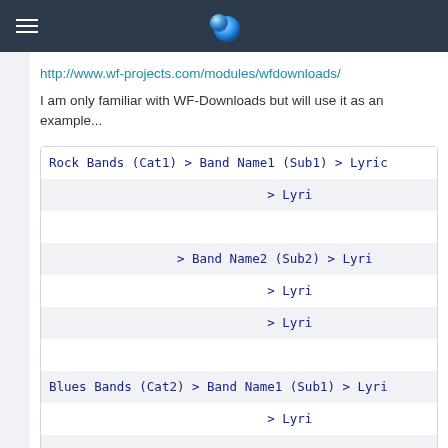http://www.wf-projects.com/modules/wfdownloads/
I am only familiar with WF-Downloads but will use it as an example...
[Figure (screenshot): Code block showing hierarchical structure: Rock Bands (Cat1) > Band Name1 (Sub1) > Lyric..., > Lyri..., (blank row), > Band Name2 (Sub2) > Lyri..., > Lyri..., > Lyri..., (blank row), Blues Bands (Cat2) > Band Name1 (Sub1) > Lyri..., > Lyri..., (blank row), > Band Name2 (Sub2) > Lyri...]